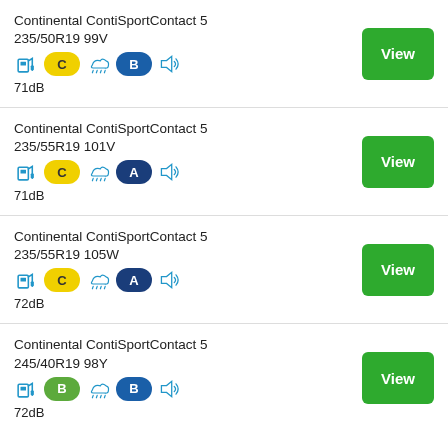Continental ContiSportContact 5 235/50R19 99V — fuel: C, wet: B, noise: 71dB
Continental ContiSportContact 5 235/55R19 101V — fuel: C, wet: A, noise: 71dB
Continental ContiSportContact 5 235/55R19 105W — fuel: C, wet: A, noise: 72dB
Continental ContiSportContact 5 245/40R19 98Y — fuel: B, wet: B, noise: 72dB